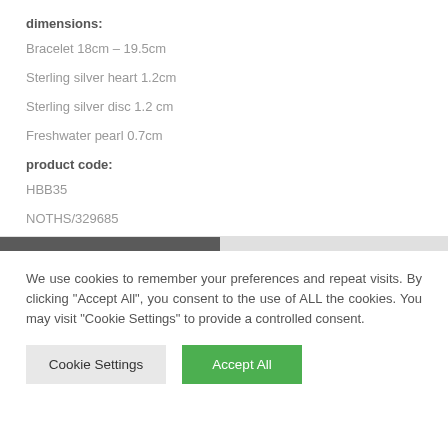dimensions:
Bracelet 18cm – 19.5cm
Sterling silver heart 1.2cm
Sterling silver disc 1.2 cm
Freshwater pearl 0.7cm
product code:
HBB35
NOTHS/329685
We use cookies to remember your preferences and repeat visits. By clicking "Accept All", you consent to the use of ALL the cookies. You may visit "Cookie Settings" to provide a controlled consent.